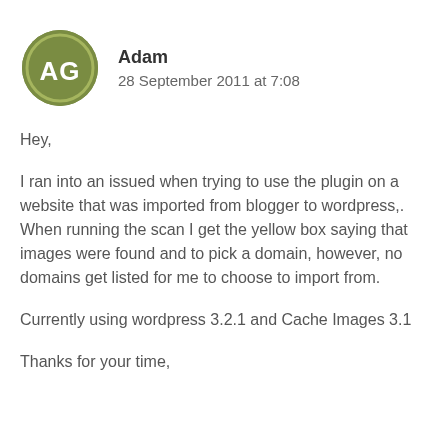[Figure (illustration): Round avatar icon with olive/green background and white 'AG' monogram letters inside a circle border]
Adam
28 September 2011 at 7:08
Hey,
I ran into an issued when trying to use the plugin on a website that was imported from blogger to wordpress,. When running the scan I get the yellow box saying that images were found and to pick a domain, however, no domains get listed for me to choose to import from.
Currently using wordpress 3.2.1 and Cache Images 3.1
Thanks for your time,